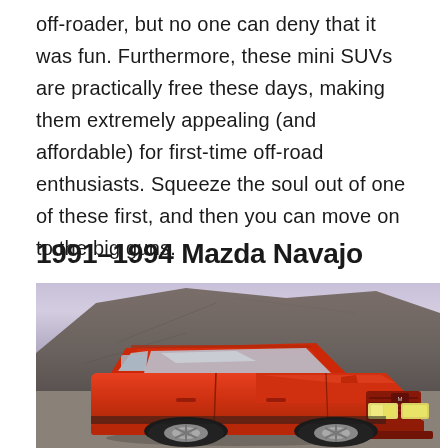off-roader, but no one can deny that it was fun. Furthermore, these mini SUVs are practically free these days, making them extremely appealing (and affordable) for first-time off-road enthusiasts. Squeeze the soul out of one of these first, and then you can move on to the big guns.
1991–1994 Mazda Navajo
[Figure (photo): A red Mazda Navajo SUV parked in front of a large mound of dark gravel or dirt, photographed in an outdoor setting. The vehicle is seen from a front-left angle.]